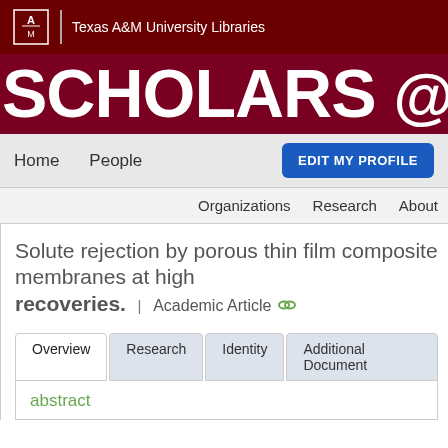Texas A&M University Libraries
SCHOLARS @TAMU
Home   People   EDIT MY PROFILE
Organizations   Research   About
Solute rejection by porous thin film composite membranes at high recoveries. | Academic Article
Overview  Research  Identity  Additional Document
abstract